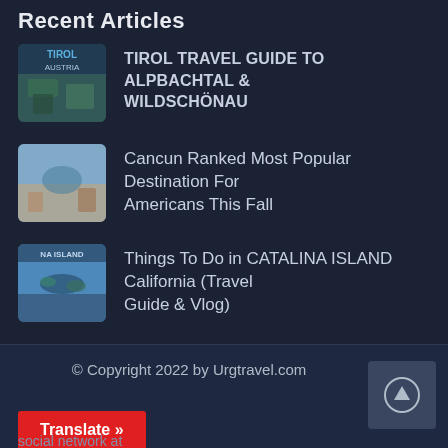Recent Articles
TIROL TRAVEL GUIDE TO ALPBACHTAL & WILDSCHÖNAU
Cancun Ranked Most Popular Destination For Americans This Fall
Things To Do in CATALINA ISLAND California (Travel Guide & Vlog)
© Copyright 2022 by Urgtravel.com
Translate »
social network at